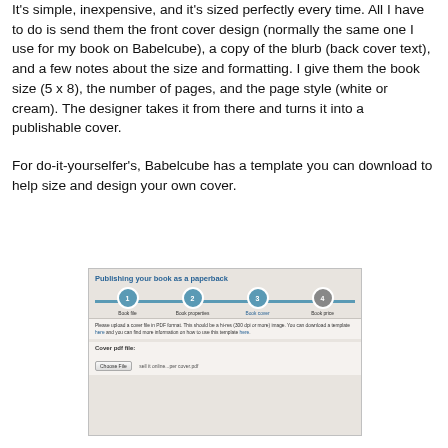It's simple, inexpensive, and it's sized perfectly every time. All I have to do is send them the front cover design (normally the same one I use for my book on Babelcube), a copy of the blurb (back cover text), and a few notes about the size and formatting. I give them the book size (5 x 8), the number of pages, and the page style (white or cream). The designer takes it from there and turns it into a publishable cover.
For do-it-yourselfer's, Babelcube has a template you can download to help size and design your own cover.
[Figure (screenshot): Screenshot of the Babelcube 'Publishing your book as a paperback' interface showing a 4-step progress indicator (Book file, Book properties, Book cover [active/highlighted], Book price), instructional text about uploading a cover PDF file with download template links, and a 'Cover pdf file:' upload field with a Choose File button and filename 'sell it online...per cover.pdf'.]